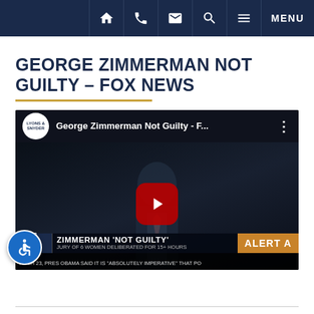Navigation bar with home, phone, email, search, and menu icons
GEORGE ZIMMERMAN NOT GUILTY – FOX NEWS
[Figure (screenshot): YouTube video embed showing Fox News coverage of George Zimmerman Not Guilty verdict, with play button overlay. News ticker reads: ZIMMERMAN 'NOT GUILTY' - JURY OF 6 WOMEN DELIBERATED FOR 15+ HOURS - ALERT. Bottom ticker: MARCH 23, PRES OBAMA SAID IT IS "ABSOLUTELY IMPERATIVE" THAT PO]
SHARE THIS PAGE: